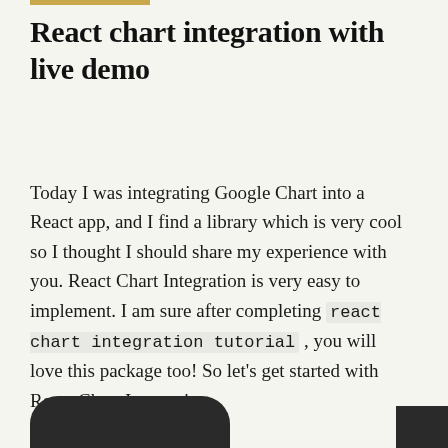React chart integration with live demo
Today I was integrating Google Chart into a React app, and I find a library which is very cool so I thought I should share my experience with you. React Chart Integration is very easy to implement. I am sure after completing react chart integration tutorial , you will love this package too! So let's get started with React Chart Integration